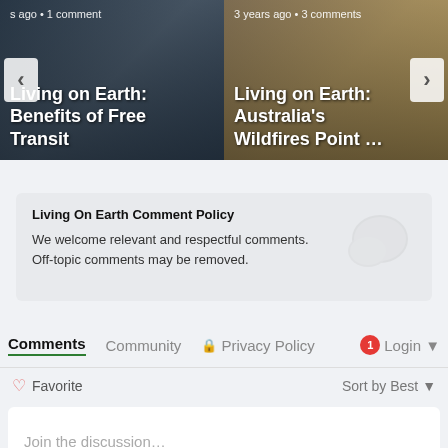[Figure (screenshot): Carousel card left: 'Living on Earth: Benefits of Free Transit', s ago · 1 comment]
[Figure (screenshot): Carousel card right: 'Living on Earth: Australia's Wildfires Point ...', 3 years ago · 3 comments]
Living On Earth Comment Policy
We welcome relevant and respectful comments. Off-topic comments may be removed.
Comments  Community  Privacy Policy  1  Login
Favorite  Sort by Best
Join the discussion…